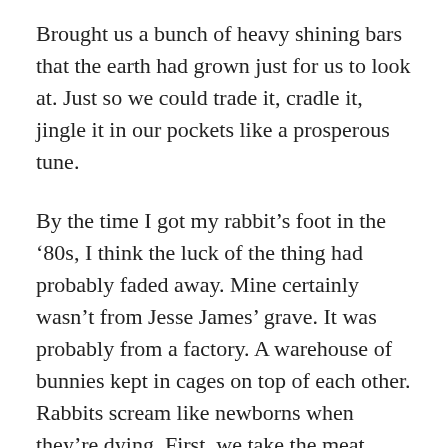Brought us a bunch of heavy shining bars that the earth had grown just for us to look at. Just so we could trade it, cradle it, jingle it in our pockets like a prosperous tune.
By the time I got my rabbit’s foot in the ‘80s, I think the luck of the thing had probably faded away. Mine certainly wasn’t from Jesse James’ grave. It was probably from a factory. A warehouse of bunnies kept in cages on top of each other. Rabbits scream like newborns when they’re dying. First, we take the meat, then we snip the feet. With time, my rabbit’s foot was lost. In its place, I remember frequently consulting a Magic 8 Ball that I would shake mightily, looking for answers out of the swirling blue. Will Mathew Gill give me a Valentine? Better not tell you now. Will my chickens win a ribbon at the fair? Outlook good. Will I live